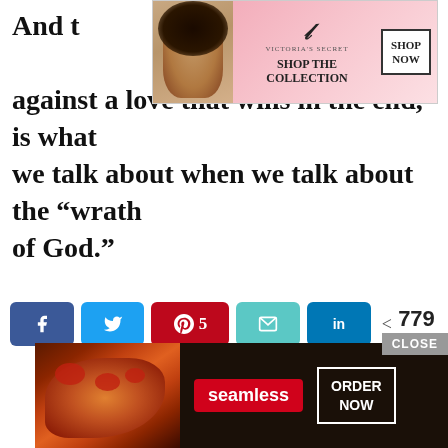And t[...] fighting against a love that wins in the end, is what we talk about when we talk about the “wrath of God.”
[Figure (screenshot): Victoria's Secret advertisement banner with model, logo, SHOP THE COLLECTION text, and SHOP NOW button]
[Figure (screenshot): Social share buttons row: Facebook, Twitter, Pinterest (5), Email, LinkedIn, and share count 779 SHARES]
[Figure (screenshot): Seamless food delivery advertisement at bottom with pizza image, seamless logo, and ORDER NOW button. CLOSE button above.]